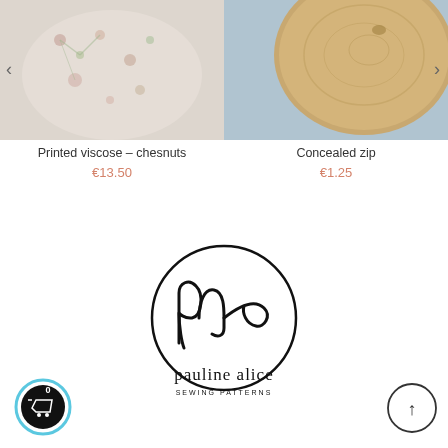[Figure (photo): Printed floral viscose fabric with chestnut pattern, displayed on a figure]
Printed viscose – chesnuts
€13.50
[Figure (photo): Wooden circular board or tray photographed from above]
Concealed zip
€1.25
[Figure (logo): Pauline Alice Sewing Patterns logo: circle with cursive 'pa' inside and 'pauline alice SEWING PATTERNS' text below]